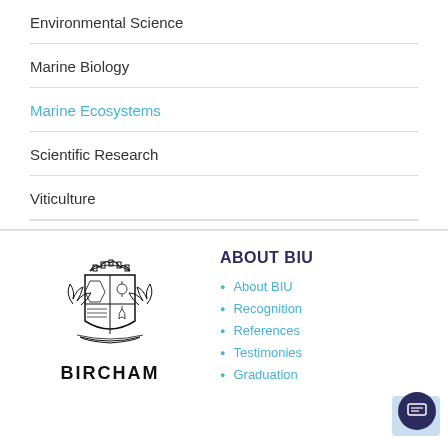Environmental Science
Marine Biology
Marine Ecosystems
Scientific Research
Viticulture
[Figure (logo): Bircham International University coat of arms logo with text BIRCHAM below]
ABOUT BIU
About BIU
Recognition
References
Testimonies
Graduation